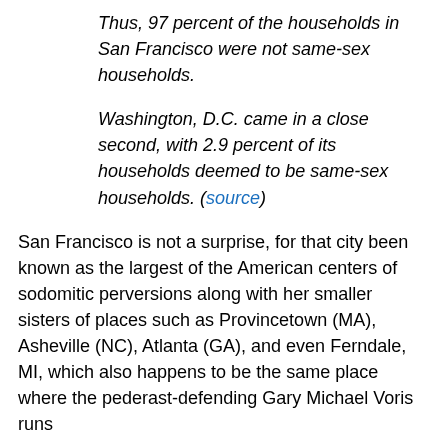Thus, 97 percent of the households in San Francisco were not same-sex households.
Washington, D.C. came in a close second, with 2.9 percent of its households deemed to be same-sex households. (source)
San Francisco is not a surprise, for that city been known as the largest of the American centers of sodomitic perversions along with her smaller sisters of places such as Provincetown (MA), Asheville (NC), Atlanta (GA), and even Ferndale, MI, which also happens to be the same place where the pederast-defending Gary Michael Voris runs